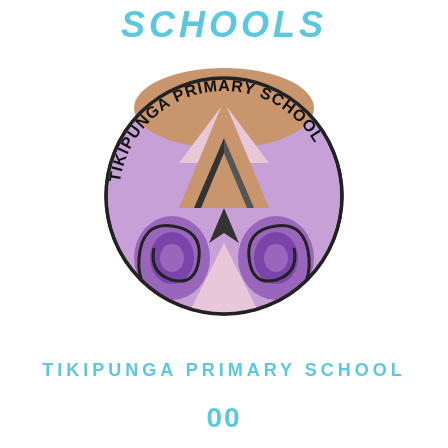SCHOOLS
[Figure (logo): Tikipunga Primary School circular logo featuring a purple background with Maori-style koru patterns and a brown/tan chevron/mountain design in the center, with 'TIKIPUNGA PRIMARY SCHOOL' text arched around the top of the circle]
TIKIPUNGA PRIMARY SCHOOL
00